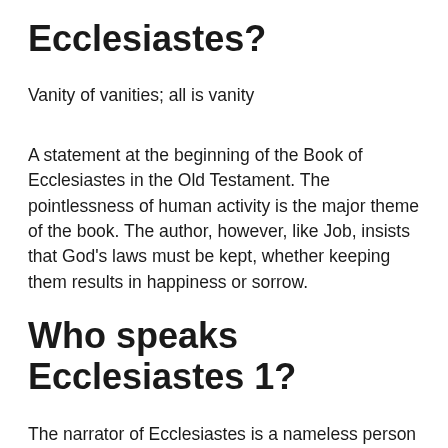Ecclesiastes?
Vanity of vanities; all is vanity
A statement at the beginning of the Book of Ecclesiastes in the Old Testament. The pointlessness of human activity is the major theme of the book. The author, however, like Job, insists that God’s laws must be kept, whether keeping them results in happiness or sorrow.
Who speaks Ecclesiastes 1?
The narrator of Ecclesiastes is a nameless person who calls himself a “Teacher,” and identifies himself as the current king of Israel and a son of King David. The Teacher opens